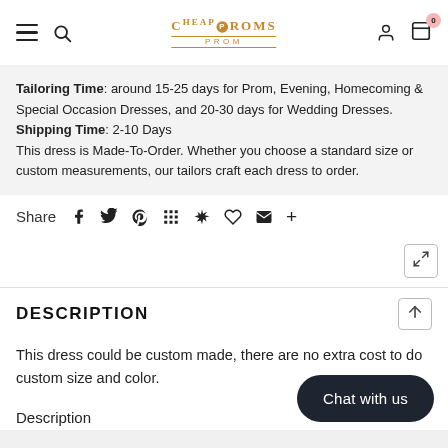CheapProms PROM — navigation header with hamburger, search, logo, user, cart (0)
Tailoring Time: around 15-25 days for Prom, Evening, Homecoming & Special Occasion Dresses, and 20-30 days for Wedding Dresses. Shipping Time: 2-10 Days This dress is Made-To-Order. Whether you choose a standard size or custom measurements, our tailors craft each dress to order.
Share
DESCRIPTION
This dress could be custom made, there are no extra cost to do custom size and color.
Description